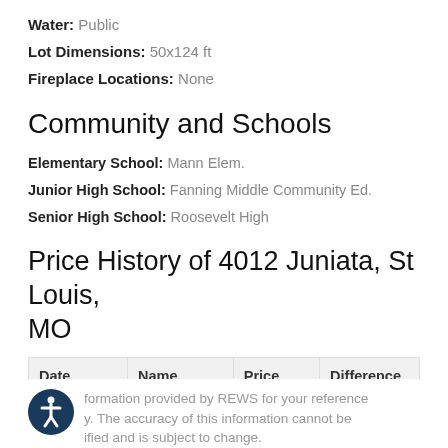Water: Public
Lot Dimensions: 50x124 ft
Fireplace Locations: None
Community and Schools
Elementary School: Mann Elem.
Junior High School: Fanning Middle Community Ed.
Senior High School: Roosevelt High
Price History of 4012 Juniata, St Louis, MO
| Date | Name | Price | Difference |
| --- | --- | --- | --- |
| 03/22/2022 | Listing Price | $352,500 | N/A |
Information provided by REWS for your reference only. The accuracy of this information cannot be verified and is subject to change.